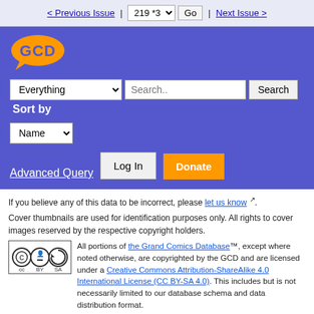< Previous Issue | 219 *3 v  Go | Next Issue >
[Figure (logo): GCD logo orange speech bubble with GCD text]
Everything v  Search..  Search  Sort by  Name v  Advanced Query  Log In  Donate
If you believe any of this data to be incorrect, please let us know.
Cover thumbnails are used for identification purposes only. All rights to cover images reserved by the respective copyright holders.
All portions of the Grand Comics Database™, except where noted otherwise, are copyrighted by the GCD and are licensed under a Creative Commons Attribution-ShareAlike 4.0 International License (CC BY-SA 4.0). This includes but is not necessarily limited to our database schema and data distribution format.
The GCD Privacy Policy. The GCD Web Site code is licensed under the GNU General Public License.